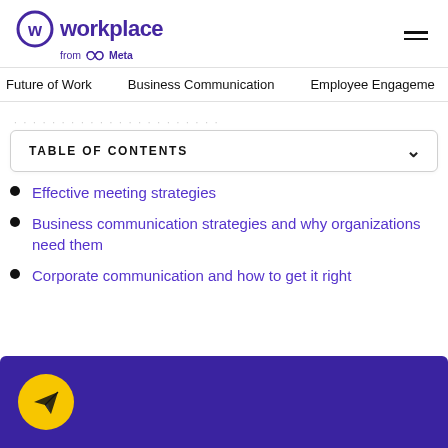Workplace from Meta
Future of Work   Business Communication   Employee Engagement
TABLE OF CONTENTS
Effective meeting strategies
Business communication strategies and why organizations need them
Corporate communication and how to get it right
[Figure (illustration): Purple CTA banner with yellow circle icon containing a paper plane symbol]